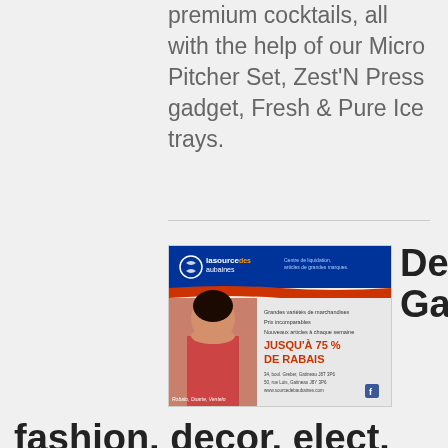premium cocktails, all with the help of our Micro Pitcher Set, Zest'N Press gadget, Fresh & Pure Ice trays.
[Figure (illustration): Advertisement for 'La Source des Aubaines' liquidation centre showing a smiling woman with text 'JUSQU'À 75% DE RABAIS' in orange on white background with blue header]
Deals in Gatineau fashion, decor, elect.
We have incredible deals for you, with new promotions and products every week at our 2 stores in Gatineau! Save 35% to 70% off retail prices of big chain stores: clothing, accessories,